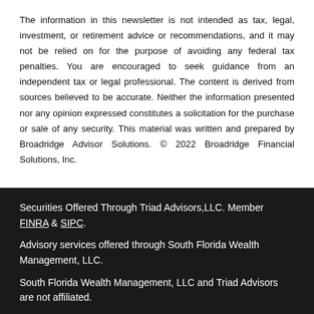The information in this newsletter is not intended as tax, legal, investment, or retirement advice or recommendations, and it may not be relied on for the purpose of avoiding any federal tax penalties. You are encouraged to seek guidance from an independent tax or legal professional. The content is derived from sources believed to be accurate. Neither the information presented nor any opinion expressed constitutes a solicitation for the purchase or sale of any security. This material was written and prepared by Broadridge Advisor Solutions. © 2022 Broadridge Financial Solutions, Inc.
Securities Offered Through Triad Advisors,LLC. Member FINRA & SIPC.
Advisory services offered through South Florida Wealth Management, LLC.
South Florida Wealth Management, LLC and Triad Advisors are not affiliated.